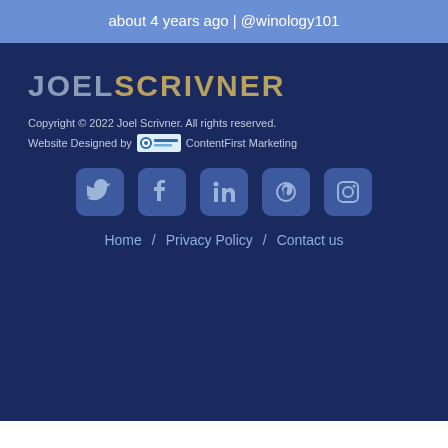about 4 years ago | @winology101
[Figure (logo): JOEL SCRIVNER logo text in two colors]
Copyright © 2022 Joel Scrivner. All rights reserved.
Website Designed by ContentFirst Marketing
[Figure (infographic): Social media icons: Twitter, Facebook, LinkedIn, Pinterest, Instagram]
Home / Privacy Policy / Contact us